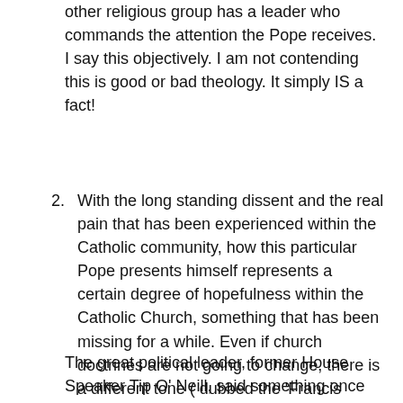other religious group has a leader who commands the attention the Pope receives. I say this objectively. I am not contending this is good or bad theology. It simply IS a fact!
2. With the long standing dissent and the real pain that has been experienced within the Catholic community, how this particular Pope presents himself represents a certain degree of hopefulness within the Catholic Church, something that has been missing for a while. Even if church doctrines are not going to change, there is a different tone ( dubbed the 'Francis effect') which has already made a difference in local Catholic churches.
The great political leader, former House Speaker Tip O' Neill, said something once that has become